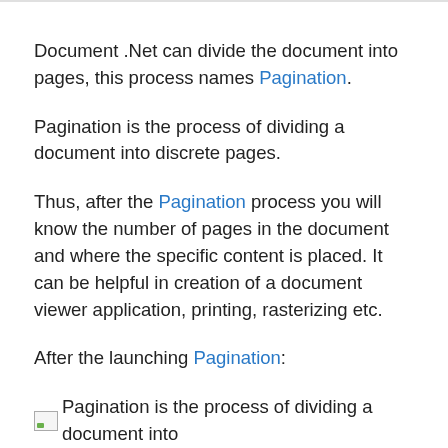Document .Net can divide the document into pages, this process names Pagination.
Pagination is the process of dividing a document into discrete pages.
Thus, after the Pagination process you will know the number of pages in the document and where the specific content is placed. It can be helpful in creation of a document viewer application, printing, rasterizing etc.
After the launching Pagination:
[Figure (illustration): Broken image placeholder followed by text: Pagination is the process of dividing a document into]